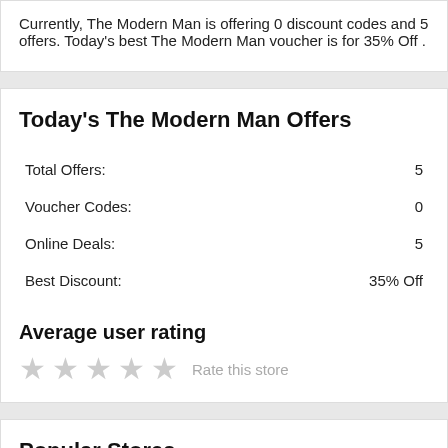Currently, The Modern Man is offering 0 discount codes and 5 offers. Today's best The Modern Man voucher is for 35% Off .
Today's The Modern Man Offers
|  |  |
| --- | --- |
| Total Offers: | 5 |
| Voucher Codes: | 0 |
| Online Deals: | 5 |
| Best Discount: | 35% Off |
Average user rating
★ ★ ★ ★ ★ Rate this store
Popular Stores